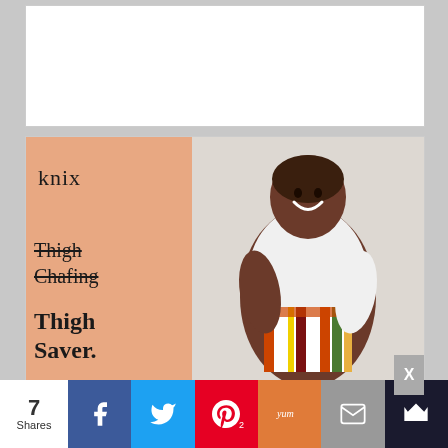[Figure (photo): Empty white ad box at top of page]
[Figure (photo): Knix advertisement showing a smiling plus-size Black woman in a white top holding a striped bag. Left side has salmon/peach background with 'knix' logo, strikethrough text 'Thigh Chafing' and bold text 'Thigh Saver.']
7 Shares
[Figure (infographic): Social share bar with Facebook, Twitter, Pinterest (2), Yummly, Email, and crown/save buttons]